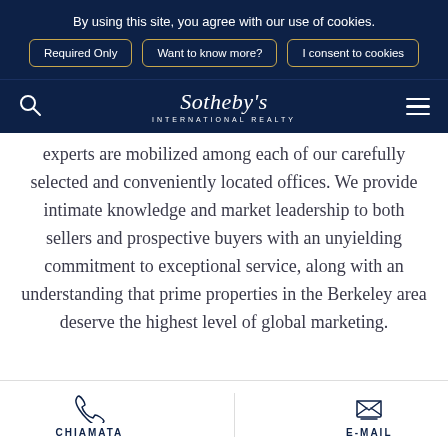By using this site, you agree with our use of cookies.
Required Only
Want to know more?
I consent to cookies
Sotheby's INTERNATIONAL REALTY
experts are mobilized among each of our carefully selected and conveniently located offices. We provide intimate knowledge and market leadership to both sellers and prospective buyers with an unyielding commitment to exceptional service, along with an understanding that prime properties in the Berkeley area deserve the highest level of global marketing.
CHIAMATA
E-MAIL